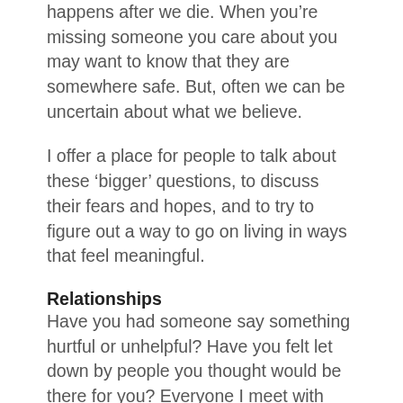happens after we die. When you’re missing someone you care about you may want to know that they are somewhere safe. But, often we can be uncertain about what we believe.
I offer a place for people to talk about these ‘bigger’ questions, to discuss their fears and hopes, and to try to figure out a way to go on living in ways that feel meaningful.
Relationships
Have you had someone say something hurtful or unhelpful? Have you felt let down by people you thought would be there for you? Everyone I meet with has examples of ‘dumb’ things people have said or friends who have disappeared or just don’t ‘get it’.
Within families people often grieve differently. And, the absence of one family member changes the way